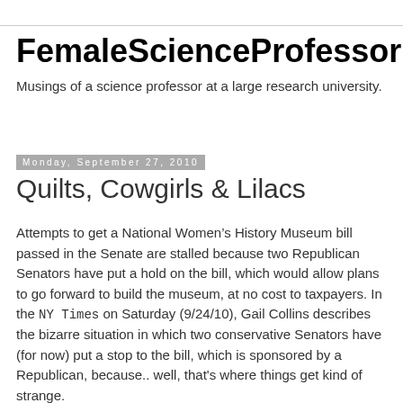FemaleScienceProfessor
Musings of a science professor at a large research university.
Monday, September 27, 2010
Quilts, Cowgirls & Lilacs
Attempts to get a National Women’s History Museum bill passed in the Senate are stalled because two Republican Senators have put a hold on the bill, which would allow plans to go forward to build the museum, at no cost to taxpayers. In the NY Times on Saturday (9/24/10), Gail Collins describes the bizarre situation in which two conservative Senators have (for now) put a stop to the bill, which is sponsored by a Republican, because.. well, that's where things get kind of strange.
Senator Tom Coburn, Republican of Oklahoma, says that he